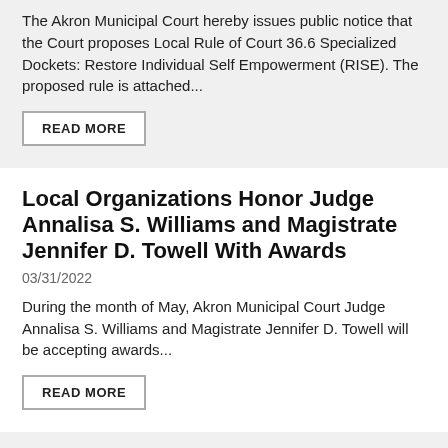The Akron Municipal Court hereby issues public notice that the Court proposes Local Rule of Court 36.6 Specialized Dockets: Restore Individual Self Empowerment (RISE). The proposed rule is attached...
READ MORE
Local Organizations Honor Judge Annalisa S. Williams and Magistrate Jennifer D. Towell With Awards
03/31/2022
During the month of May, Akron Municipal Court Judge Annalisa S. Williams and Magistrate Jennifer D. Towell will be accepting awards...
READ MORE
Akron Municipal Court Sets Star Wars Themed Weddings for Wednesday, May 4
03/23/2022